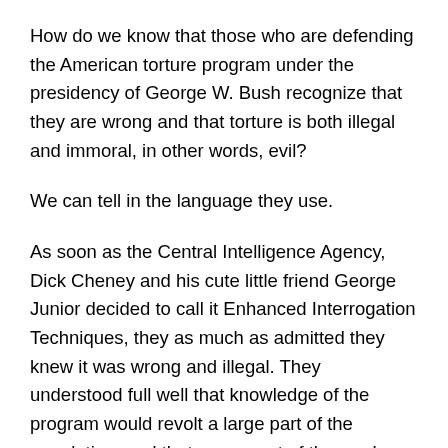How do we know that those who are defending the American torture program under the presidency of George W. Bush recognize that they are wrong and that torture is both illegal and immoral, in other words, evil?
We can tell in the language they use.
As soon as the Central Intelligence Agency, Dick Cheney and his cute little friend George Junior decided to call it Enhanced Interrogation Techniques, they as much as admitted they knew it was wrong and illegal. They understood full well that knowledge of the program would revolt a large part of the population, and that even most of those who approved it would do so reluctantly and that their approval would be based on a lie—that torture works to get bad people to tell us where their fellow baddies are hiding. So they decide to call it something else.